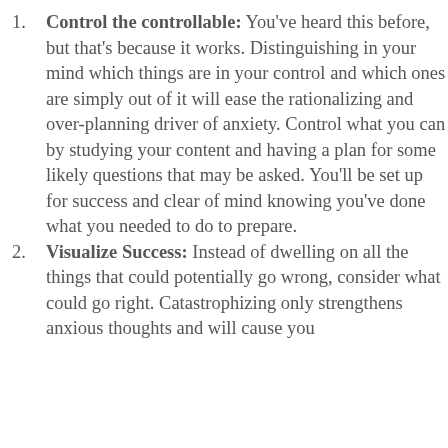Control the controllable: You've heard this before, but that's because it works. Distinguishing in your mind which things are in your control and which ones are simply out of it will ease the rationalizing and over-planning driver of anxiety. Control what you can by studying your content and having a plan for some likely questions that may be asked. You'll be set up for success and clear of mind knowing you've done what you needed to do to prepare.
Visualize Success: Instead of dwelling on all the things that could potentially go wrong, consider what could go right. Catastrophizing only strengthens anxious thoughts and will cause you